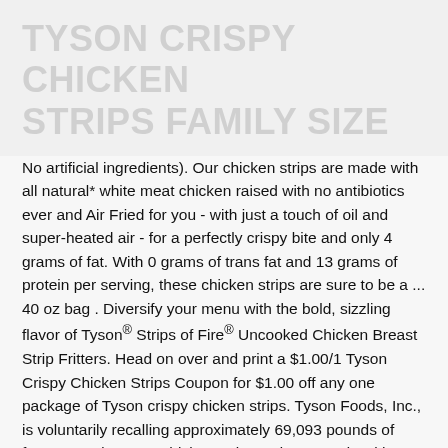TYSON CRISPY CHICKEN STRIPS FAMILY SIZE
No artificial ingredients). Our chicken strips are made with all natural* white meat chicken raised with no antibiotics ever and Air Fried for you - with just a touch of oil and super-heated air - for a perfectly crispy bite and only 4 grams of fat. With 0 grams of trans fat and 13 grams of protein per serving, these chicken strips are sure to be a ... 40 oz bag . Diversify your menu with the bold, sizzling flavor of Tyson® Strips of Fire® Uncooked Chicken Breast Strip Fritters. Head on over and print a $1.00/1 Tyson Crispy Chicken Strips Coupon for $1.00 off any one package of Tyson crispy chicken strips. Tyson Foods, Inc., is voluntarily recalling approximately 69,093 pounds of frozen, ready-to-eat chicken strip products. Made with white meat. Our spicy chicken strips are made with chunks of breast and rib